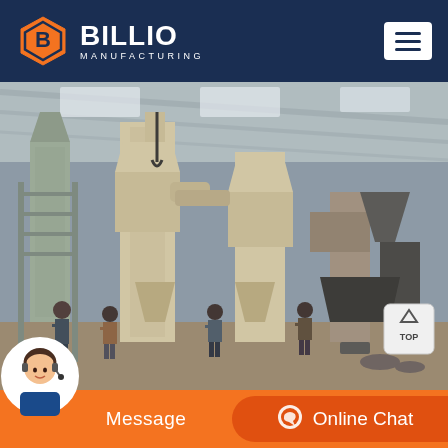BILLIO MANUFACTURING
[Figure (photo): Industrial manufacturing facility interior showing large milling/grinding machines (cream/beige colored vertical mills with cyclone separators and conveyor systems) inside a metal warehouse structure. Several workers visible on the factory floor among the heavy machinery.]
Message | Online Chat